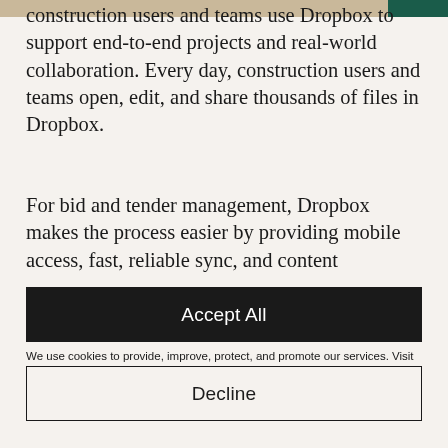construction users and teams use Dropbox to support end-to-end projects and real-world collaboration. Every day, construction users and teams open, edit, and share thousands of files in Dropbox.
For bid and tender management, Dropbox makes the process easier by providing mobile access, fast, reliable sync, and content
We use cookies to provide, improve, protect, and promote our services. Visit our Privacy Policy and Privacy Policy FAQ to learn more. You can manage your personal preferences in our Cookie Consent Tool.
Accept All
Decline